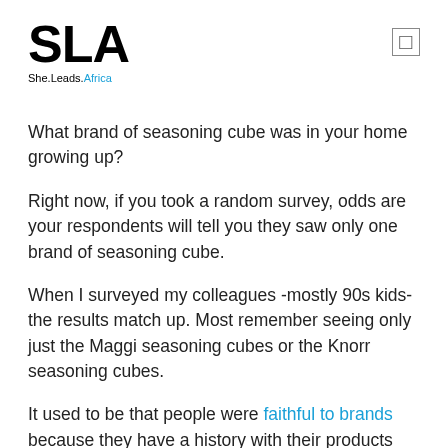[Figure (logo): SLA She.Leads.Africa logo with bold black SLA text and blue 'Africa' in tagline]
What brand of seasoning cube was in your home growing up?
Right now, if you took a random survey, odds are your respondents will tell you they saw only one brand of seasoning cube.
When I surveyed my colleagues -mostly 90s kids- the results match up. Most remember seeing only just the Maggi seasoning cubes or the Knorr seasoning cubes.
It used to be that people were faithful to brands because they have a history with their products and services. They bought only one brand of cars; one brand of toiletries or picked groceries from only one